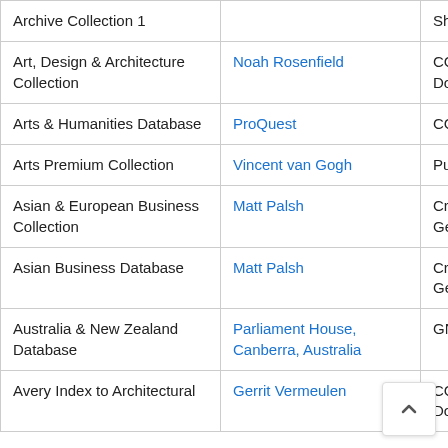| Collection/Database | Creator/Contributor | License |
| --- | --- | --- |
| Archive Collection 1 |  | ShareAlike 2.5 Generic |
| Art, Design & Architecture Collection | Noah Rosenfield | CC0 1.0 Universal (CC0 1.0) Public Domain Dedication |
| Arts & Humanities Database | ProQuest | CC0 - No Rights Reserved |
| Arts Premium Collection | Vincent van Gogh | Public Domain |
| Asian & European Business Collection | Matt Palsh | Creative Commons Attribution Generic (CC BY 2.0) |
| Asian Business Database | Matt Palsh | Creative Commons Attribution Generic (CC BY 2.0) |
| Australia & New Zealand Database | Parliament House, Canberra, Australia | GNU Free Documentation |
| Avery Index to Architectural | Gerrit Vermeulen | CC0 1.0 Universal (CC0 1.0) Public Domain Dedication |